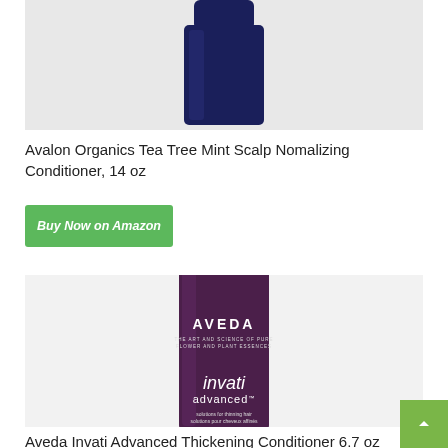[Figure (photo): Top portion of Avalon Organics Tea Tree Mint Scalp Normalizing Conditioner bottle with dark blue cap, white background]
Avalon Organics Tea Tree Mint Scalp Nomalizing Conditioner, 14 oz
Buy Now on Amazon
[Figure (photo): Aveda Invati Advanced Thickening Conditioner 6.7 oz tube in dark purple/plum color with white text showing AVEDA branding and invati advanced logo]
Aveda Invati Advanced Thickening Conditioner 6.7 oz